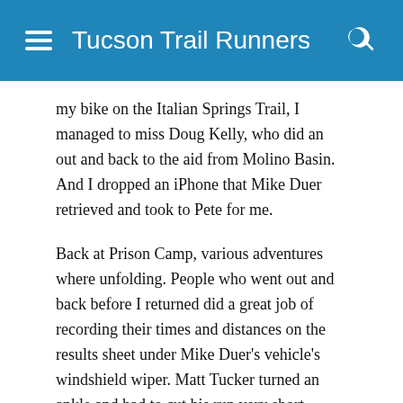Tucson Trail Runners
my bike on the Italian Springs Trail, I managed to miss Doug Kelly, who did an out and back to the aid from Molino Basin. And I dropped an iPhone that Mike Duer retrieved and took to Pete for me.
Back at Prison Camp, various adventures where unfolding. People who went out and back before I returned did a great job of recording their times and distances on the results sheet under Mike Duer's vehicle's windshield wiper. Matt Tucker turned an ankle and had to cut his run very short. Rogelio and Alberto Hernandez did a prodigal father/son thing when Alberto got off the Arizona Trail, found his way back, then had to wait for his dad who was scouring the upland for his son. I found a shivering Alberto and got him warmed before Rogelio came in, tired but relieved Alberto was there. Mike Duer was the first person doing the full 50K to appear, managing to pass the people who turned at the aid station and “only” did a hard trail